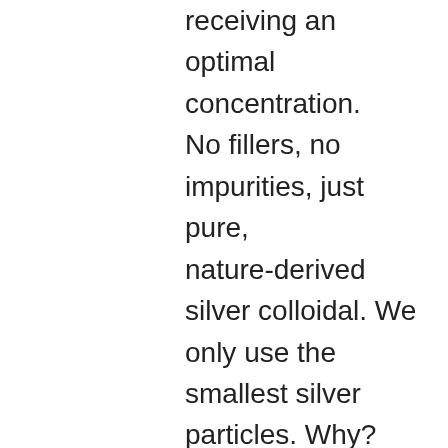receiving an optimal concentration. No fillers, no impurities, just pure, nature-derived silver colloidal. We only use the smallest silver particles. Why? The smaller the particles, the better the results.
••• MORE THAN JUST COLLOIDAL SILVER ••• Our mission as a team is to impart our love and knowledge of colloidal silver to you. The free E-book included with every purchase gives you an in-depth insight into the incredible world of Colloidal silver and how it can improve your life...